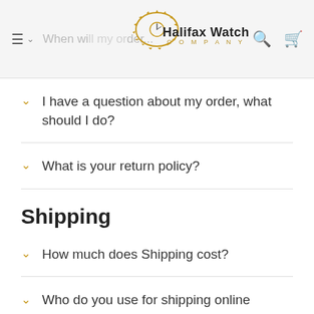Halifax Watch Company — navigation header
I have a question about my order, what should I do?
What is your return policy?
Shipping
How much does Shipping cost?
Who do you use for shipping online purchases?